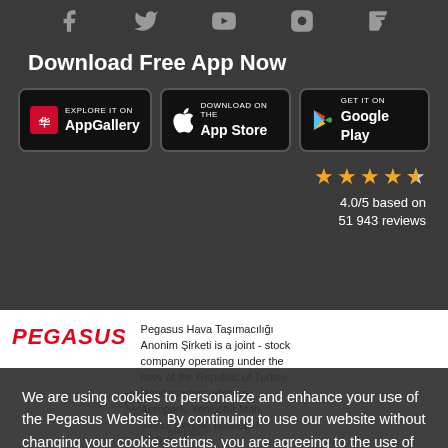[Figure (infographic): Social media icons row: Facebook, Twitter, YouTube, Instagram, Foursquare on dark background]
Download Free App Now
[Figure (infographic): App store download buttons: Huawei AppGallery, Apple App Store, Google Play]
4.0/5 based on 51 943 reviews
[Figure (logo): PEGASUS logo in red italic text]
Pegasus Hava Taşımacılığı Anonim Şirketi is a joint - stock company operating under the laws of the Republic of Turkey. Headquarters address: Aeropark, Yenişehir Mah. 34912 Pendik, İstanbul / TÜRKİYE
[Figure (logo): TR 60 certification badge]
[Figure (logo): IATA member logo]
member
We are using cookies to personalize and enhance your use of the Pegasus Website. By continuing to use our website without changing your cookie settings, you are agreeing to the use of cookies as set in the Pegasus Privacy Policy.
Change Settings
I Agree